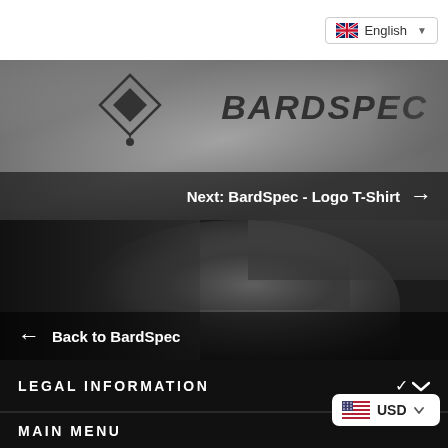English (language selector)
[Figure (photo): Black and white photo/rendering of a grey BardSpec logo t-shirt with diamond logo mark and BARDSPEC text, with 'Next: BardSpec - Logo T-Shirt' navigation overlay with right arrow]
[Figure (photo): Black and white close-up photo of a bearded man's face, profile view, with 'Back to BardSpec' navigation overlay with left arrow]
LEGAL INFORMATION
MAIN MENU